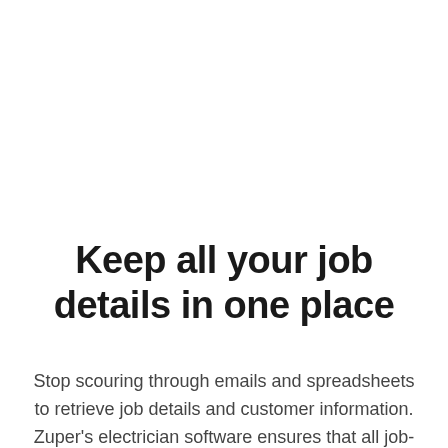Keep all your job details in one place
Stop scouring through emails and spreadsheets to retrieve job details and customer information. Zuper's electrician software ensures that all job-related information is stored in a centralized location. What's more, it automatically connects any pre-existing to